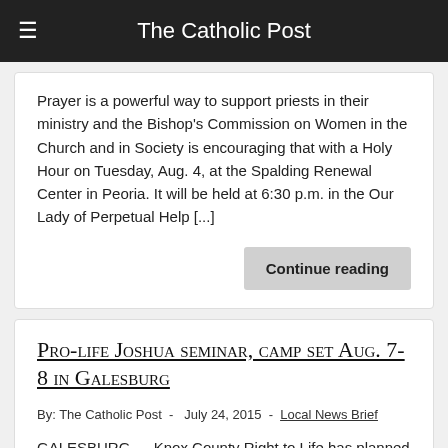The Catholic Post
Prayer is a powerful way to support priests in their ministry and the Bishop's Commission on Women in the Church and in Society is encouraging that with a Holy Hour on Tuesday, Aug. 4, at the Spalding Renewal Center in Peoria. It will be held at 6:30 p.m. in the Our Lady of Perpetual Help [...]
Pro-life Joshua seminar, camp set Aug. 7-8 in Galesburg
By: The Catholic Post - July 24, 2015 - Local News Brief
GALESBURG — Knox County Right to Life has planned events on Friday, Aug. 7, and Saturday, Aug. 8, to give high school students and adults the tools they need to stand up for